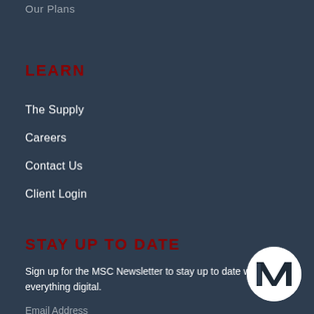Our Plans
LEARN
The Supply
Careers
Contact Us
Client Login
STAY UP TO DATE
Sign up for the MSC Newsletter to stay up to date with everything digital.
Email Address
[Figure (logo): MSC logo — circular badge with stylized M letterform in white on white circle with dark background]